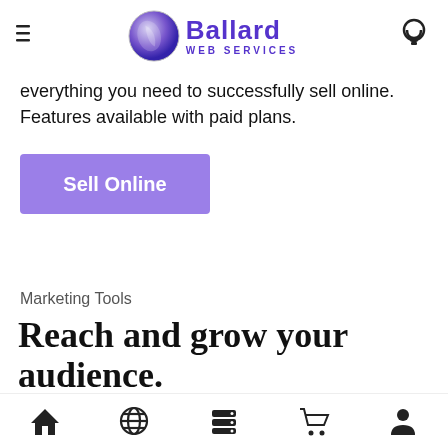Ballard Web Services
everything you need to successfully sell online. Features available with paid plans.
Sell Online
Marketing Tools
Reach and grow your audience.
Home | Domain | Hosting | Store | Account